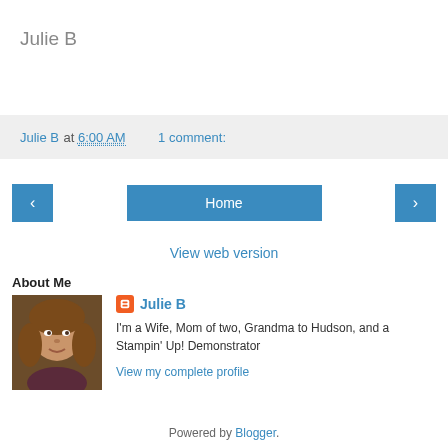Julie B
Julie B at 6:00 AM   1 comment:
‹  Home  ›
View web version
About Me
[Figure (photo): Profile photo of Julie B, a woman with brown hair]
Julie B
I'm a Wife, Mom of two, Grandma to Hudson, and a Stampin' Up! Demonstrator
View my complete profile
Powered by Blogger.